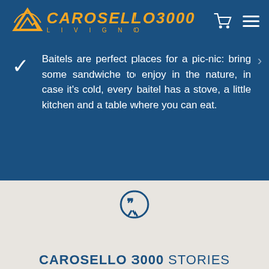CAROSELLO3000 LIVIGNO
Baitels are perfect places for a pic-nic: bring some sandwiche to enjoy in the nature, in case it's cold, every baitel has a stove, a little kitchen and a table where you can eat.
[Figure (illustration): Speech bubble icon with quotation marks]
CAROSELLO 3000 STORIES